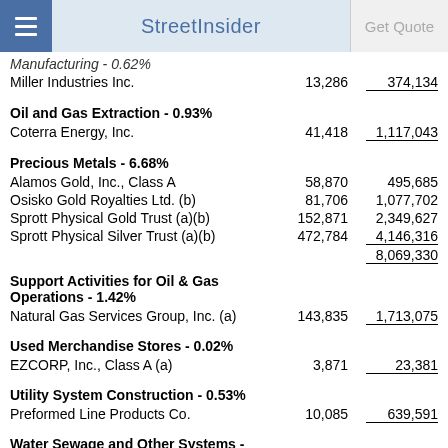StreetInsider | Get Quote
Manufacturing - 0.62%
Miller Industries Inc.    13,286    374,134
Oil and Gas Extraction - 0.93%
Coterra Energy, Inc.    41,418    1,117,043
Precious Metals - 6.68%
|  | Shares | Value |
| --- | --- | --- |
| Alamos Gold, Inc., Class A | 58,870 | 495,685 |
| Osisko Gold Royalties Ltd. (b) | 81,706 | 1,077,702 |
| Sprott Physical Gold Trust (a)(b) | 152,871 | 2,349,627 |
| Sprott Physical Silver Trust (a)(b) | 472,784 | 4,146,316 |
|  |  | 8,069,330 |
Support Activities for Oil & Gas Operations - 1.42%
Natural Gas Services Group, Inc. (a)    143,835    1,713,075
Used Merchandise Stores - 0.02%
EZCORP, Inc., Class A (a)    3,871    23,381
Utility System Construction - 0.53%
Preformed Line Products Co.    10,085    639,591
Water Sewage and Other Systems -